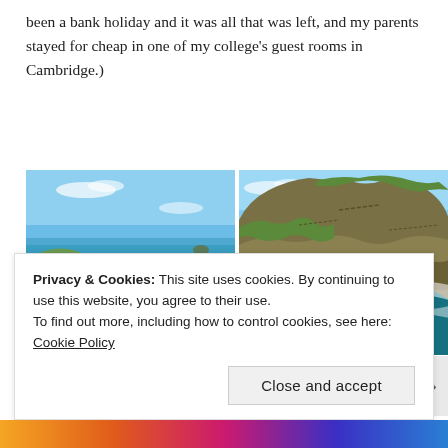been a bank holiday and it was all that was left, and my parents stayed for cheap in one of my college's guest rooms in Cambridge.)
[Figure (photo): Two side-by-side coastal landscape photos. Left: a winding footpath through green cliffs overlooking a blue sea, with a hiker visible. Right: dramatic rocky cliffs with turquoise sea crashing below.]
Privacy & Cookies: This site uses cookies. By continuing to use this website, you agree to their use.
To find out more, including how to control cookies, see here: Cookie Policy
Close and accept